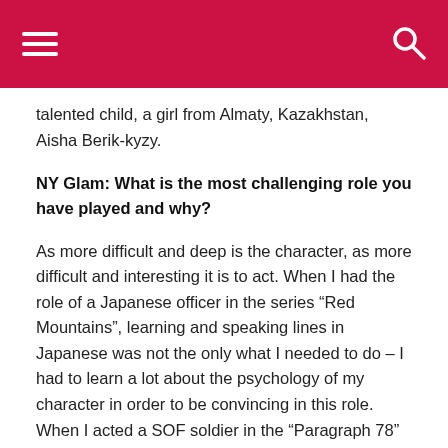talented child, a girl from Almaty, Kazakhstan, Aisha Berik-kyzy.
NY Glam: What is the most challenging role you have played and why?
As more difficult and deep is the character, as more difficult and interesting it is to act. When I had the role of a Japanese officer in the series “Red Mountains”, learning and speaking lines in Japanese was not the only what I needed to do – I had to learn a lot about the psychology of my character in order to be convincing in this role. When I acted a SOF soldier in the “Paragraph 78” sci-fi action, I had to learn many new things for me, even a new gait type.